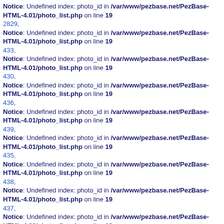Notice: Undefined index: photo_id in /var/www/pezbase.net/PezBase-HTML-4.01/photo_list.php on line 19
2829,
Notice: Undefined index: photo_id in /var/www/pezbase.net/PezBase-HTML-4.01/photo_list.php on line 19
433,
Notice: Undefined index: photo_id in /var/www/pezbase.net/PezBase-HTML-4.01/photo_list.php on line 19
430,
Notice: Undefined index: photo_id in /var/www/pezbase.net/PezBase-HTML-4.01/photo_list.php on line 19
436,
Notice: Undefined index: photo_id in /var/www/pezbase.net/PezBase-HTML-4.01/photo_list.php on line 19
439,
Notice: Undefined index: photo_id in /var/www/pezbase.net/PezBase-HTML-4.01/photo_list.php on line 19
435,
Notice: Undefined index: photo_id in /var/www/pezbase.net/PezBase-HTML-4.01/photo_list.php on line 19
438,
Notice: Undefined index: photo_id in /var/www/pezbase.net/PezBase-HTML-4.01/photo_list.php on line 19
437,
Notice: Undefined index: photo_id in /var/www/pezbase.net/PezBase-HTML-4.01/photo_list.php on line 19
400,
Notice: Undefined index: photo_id in /var/www/pezbase.net/PezBase-HTML-4.01/photo_list.php on line 19
398,
Notice: Undefined index: photo_id in /var/www/pezbase.net/PezBase-HTML-4.01/photo_list.php on line 19
396,